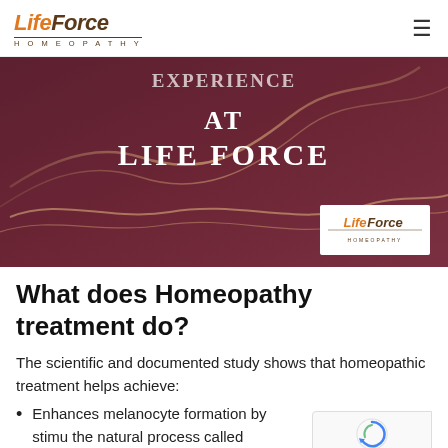Life Force Homeopathy
[Figure (illustration): Dark maroon/burgundy background promotional banner with flowing gold/copper curved lines and text 'AT LIFE FORCE' in white serif font, with a white-bordered Life Force Homeopathy logo box in the lower center.]
What does Homeopathy treatment do?
The scientific and documented study shows that homeopathic treatment helps achieve:
Enhances melanocyte formation by stimu... the natural process called melanogenesis